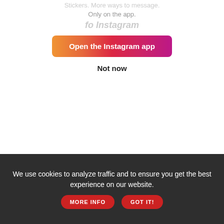Stickers. More ways to message. Only on the app.
fo Instagram
[Figure (screenshot): Orange to purple gradient button labeled 'Open the Instagram app']
Not now
We use cookies to analyze traffic and to ensure you get the best experience on our website.
MORE INFO
GOT IT!